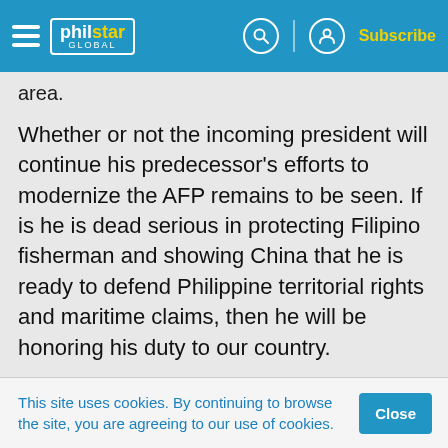philstar GLOBAL – Subscribe
area.
Whether or not the incoming president will continue his predecessor's efforts to modernize the AFP remains to be seen. If is he is dead serious in protecting Filipino fisherman and showing China that he is ready to defend Philippine territorial rights and maritime claims, then he will be honoring his duty to our country.
This site uses cookies. By continuing to browse the site, you are agreeing to our use of cookies.